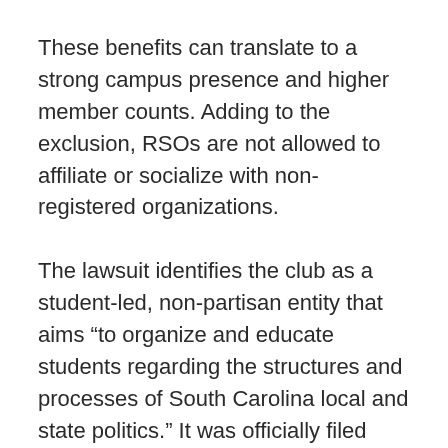These benefits can translate to a strong campus presence and higher member counts. Adding to the exclusion, RSOs are not allowed to affiliate or socialize with non-registered organizations.
The lawsuit identifies the club as a student-led, non-partisan entity that aims “to organize and educate students regarding the structures and processes of South Carolina local and state politics.” It was officially filed against six College officials, including Interim President Stephen C. Osbourne.
Meadows is clear that the biggest issue at hand is the seemingly arbitrary decision by college